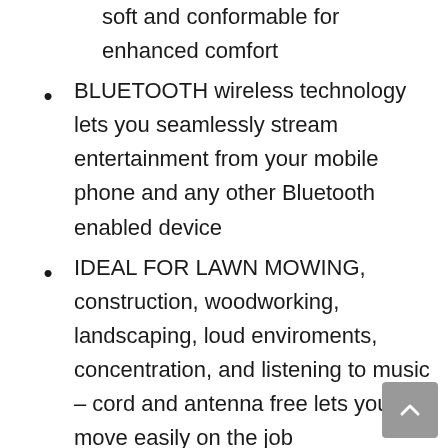soft and conformable for enhanced comfort
BLUETOOTH wireless technology lets you seamlessly stream entertainment from your mobile phone and any other Bluetooth enabled device
IDEAL FOR LAWN MOWING, construction, woodworking, landscaping, loud enviroments, concentration, and listening to music – cord and antenna free lets you move easily on the job
HIGH-FIDELITY SPEAKERS provide premium sound quality